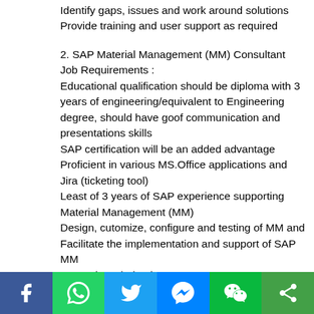Identify gaps, issues and work around solutions
Provide training and user support as required
2. SAP Material Management (MM) Consultant
Job Requirements :
Educational qualification should be diploma with 3 years of engineering/equivalent to Engineering degree, should have goof communication and presentations skills
SAP certification will be an added advantage
Proficient in various MS.Office applications and Jira (ticketing tool)
Least of 3 years of SAP experience supporting Material Management (MM)
Design, cutomize, configure and testing of MM and Facilitate the implementation and support of SAP MM
Strong knowledge in SAP procurement...